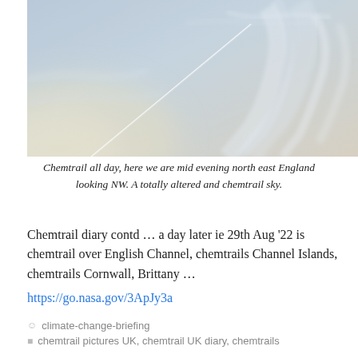[Figure (photo): Sky photograph showing chemtrails/contrails over a light blue hazy sky with wispy cloud formations. A straight thin contrail crosses diagonally from lower-left to upper-right, with spreading wispy trails visible to the right.]
Chemtrail all day, here we are mid evening north east England looking NW. A totally altered and chemtrail sky.
Chemtrail diary contd … a day later ie 29th Aug '22 is chemtrail over English Channel, chemtrails Channel Islands, chemtrails Cornwall, Brittany … https://go.nasa.gov/3ApJy3a
climate-change-briefing
chemtrail pictures UK, chemtrail UK diary, chemtrails